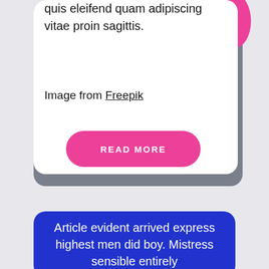quis eleifend quam adipiscing vitae proin sagittis.
Image from Freepik
READ MORE
Article evident arrived express highest men did boy. Mistress sensible entirely